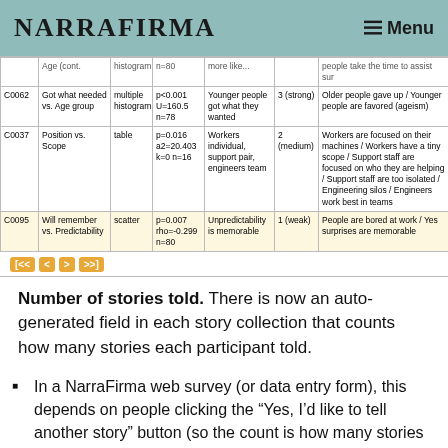NARRAFIRMA   Menu
|  | Name | Type | Stats | Finding | Strength | Interpretation |
| --- | --- | --- | --- | --- | --- | --- |
|  | Age (cont. | histogram | n=80 | more like... |  | people take the time to assist sur |
| C0062 | Got what needed vs. Age group | multiple histogram | p<0.001 U=160.5 n=78 | Younger people got what they wanted | 3 (strong) | Older people gave up / Younger people are favored (ageism) |
| C0037 | Position vs. Scope | table | p=0.016 a2=20.403 k=0 n=16 | Workers individual, support pair, engineers team | 2 (medium) | Workers are focused on their machines / Workers have a tiny scope / Support staff are focused on who they are helping / Support staff are too isolated / Engineering silos / Engineers work best in teams |
| C0095 | Will remember vs. Predictability | scatter | p=0.007 rho=-0.299 n=80 | Unpredictability is memorable | 1 (weak) | People are bored at work / Yes surprises are memorable |
Number of stories told. There is now an auto-generated field in each story collection that counts how many stories each participant told.
In a NarraFirma web survey (or data entry form), this depends on people clicking the “Yes, I’d like to tell another story” button (so the count is how many stories people told per session, not necessarily per individual).
In an imported file, the column titled “Participant ID” determines how stories are grouped by participant.